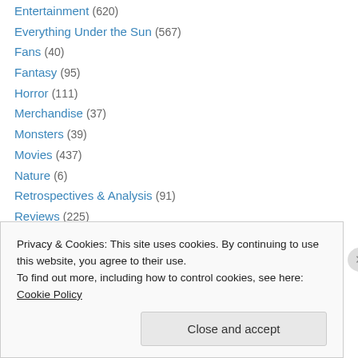Entertainment (620)
Everything Under the Sun (567)
Fans (40)
Fantasy (95)
Horror (111)
Merchandise (37)
Monsters (39)
Movies (437)
Nature (6)
Retrospectives & Analysis (91)
Reviews (225)
Sci-Fi (578)
Science (30)
Speculation & Analysis (79)
Privacy & Cookies: This site uses cookies. By continuing to use this website, you agree to their use. To find out more, including how to control cookies, see here: Cookie Policy